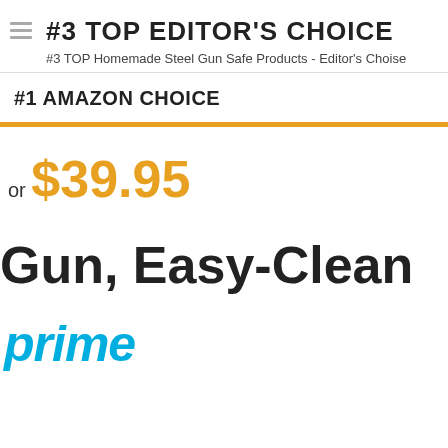#3 TOP EDITOR'S CHOICE
#3 TOP Homemade Steel Gun Safe Products - Editor's Choise
#1 AMAZON CHOICE
or $39.95
Gun, Easy-Clean
[Figure (logo): Amazon Prime logo showing 'prime' in teal/blue italic text]